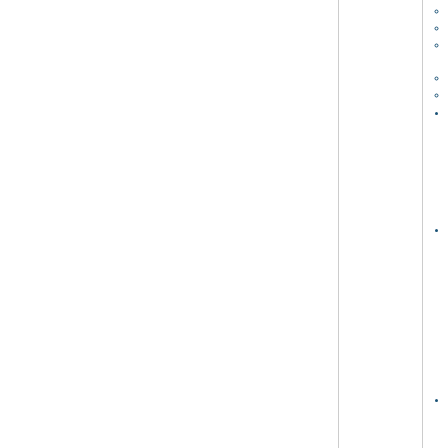shown f
Improve
CUBE_ docume
Show c
Various
CubeLib (4.
Fixed b wrong n
Improve
cube_d
cube_r ] and a
CubeLib (in
Improve
ela
des
des
Split "ta
Keep o
Set me
Fixed p
Various
CubeW (4.4
Cleane
Minor fi